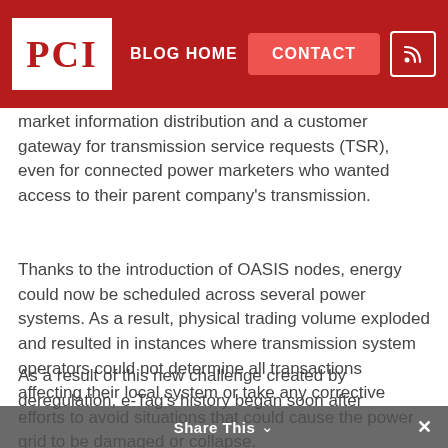PCI | BLOG HOME | CONTACT
market information distribution and a customer gateway for transmission service requests (TSR), even for connected power marketers who wanted access to their parent company's transmission.
Thanks to the introduction of OASIS nodes, energy could now be scheduled across several power systems. As a result, physical trading volume exploded and resulted in instances where transmission system operators could not determine all transactions affecting their local system or take any corrective efforts to avoid situations that could cause the power grid to be damaged or collapse.
As a result of this new challenge created by deregulation, e-Tag's history began soon after
Share This